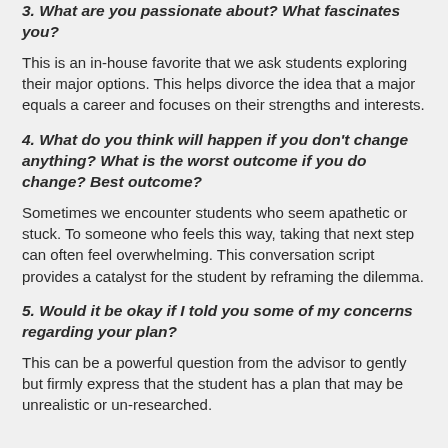3. What are you passionate about? What fascinates you?
This is an in-house favorite that we ask students exploring their major options. This helps divorce the idea that a major equals a career and focuses on their strengths and interests.
4. What do you think will happen if you don't change anything? What is the worst outcome if you do change? Best outcome?
Sometimes we encounter students who seem apathetic or stuck. To someone who feels this way, taking that next step can often feel overwhelming. This conversation script provides a catalyst for the student by reframing the dilemma.
5. Would it be okay if I told you some of my concerns regarding your plan?
This can be a powerful question from the advisor to gently but firmly express that the student has a plan that may be unrealistic or un-researched.